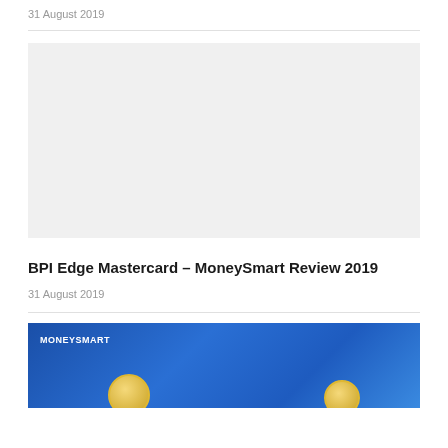31 August 2019
[Figure (photo): Blank light gray placeholder image for an article]
BPI Edge Mastercard – MoneySmart Review 2019
31 August 2019
[Figure (photo): MoneySmart branded image with blue background and gold coins, showing MONEYSMART text badge in top left corner]